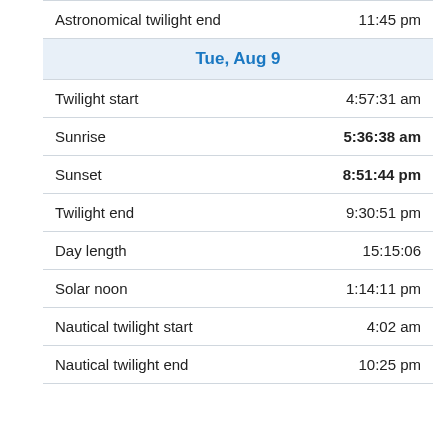| Astronomical twilight end | 11:45 pm |
| Tue, Aug 9 |  |
| Twilight start | 4:57:31 am |
| Sunrise | 5:36:38 am |
| Sunset | 8:51:44 pm |
| Twilight end | 9:30:51 pm |
| Day length | 15:15:06 |
| Solar noon | 1:14:11 pm |
| Nautical twilight start | 4:02 am |
| Nautical twilight end | 10:25 pm |